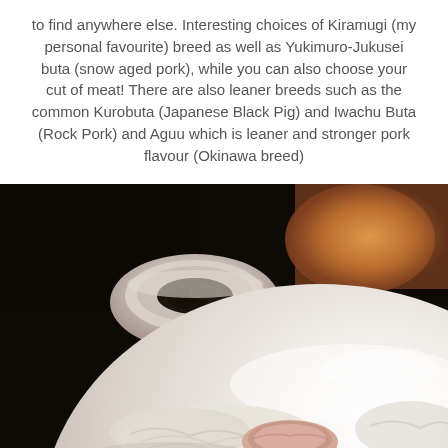to find anywhere else. Interesting choices of Kiramugi (my personal favourite) breed as well as Yukimuro-Jukusei buta (snow aged pork), while you can also choose your cut of meat! There are also leaner breeds such as the common Kurobuta (Japanese Black Pig) and Iwachu Buta (Rock Pork) and Aguu which is leaner and stronger pork flavour (Okinawa breed)
[Figure (photo): A close-up photo of a Japanese pork dish on a large white plate with shredded cabbage and sliced pork, with a small oval bowl of dark seaweed/garnish visible in the background, set against a dark restaurant interior.]